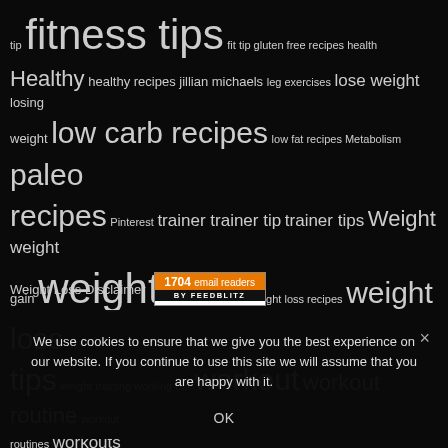[Figure (infographic): Tag cloud on dark background featuring health and fitness related keywords in varying sizes including: tip, fitness tips, fit tip, gluten free recipes, health, Healthy, healthy recipes, jillian michaels, leg exercises, lose weight, losing weight, low carb recipes, low fat recipes, Metabolism, paleo, recipes, Pinterest, trainer, trainer tip, trainer tips, Weight, weight gain, weight loss, weight loss recipes, weight loss tips, weight training, working out, workout, workout routine, workout routines, workouts]
Weight Loss Disclaimer
[Figure (other): FeedBlitz badge showing 1704 email readers]
We use cookies to ensure that we give you the best experience on our website. If you continue to use this site we will assume that you are happy with it.
OK